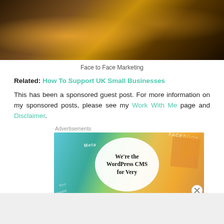[Figure (photo): Top portion of a photo showing a restaurant/bar table scene with plants, candles, and drinks in warm amber lighting]
Face to Face Marketing
Related: How To Support UK Small Businesses
This has been a sponsored guest post. For more information on my sponsored posts, please see my Work With Me page and Disclaimer.
[Figure (screenshot): Advertisement banner with text 'We're the WordPress CMS for Very' on a white oval, overlaid on colorful social media card background]
Advertisements
Advertisements